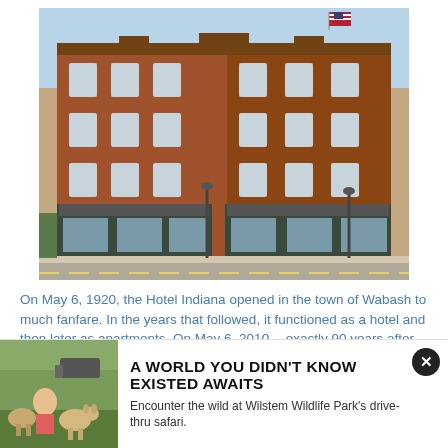[Figure (photo): Exterior photograph of a large multi-story red brick hotel building (Hotel Indiana in Wabash) with American flag on top, street-level storefronts with awnings, streetlights, and a street corner view.]
On May 6, 1920, the Hotel Indiana opened in the town of Wabash to much fanfare. In the years that followed, it functioned as a hotel and then later as apartments. On May 6, 2010 -- exactly 90 years after the original opening -- the newly restored hotel enjoyed a second grand opening, this
[Figure (photo): Advertisement photo showing a child with animals (pigs/deer) at a wildlife park.]
A WORLD YOU DIDN'T KNOW EXISTED AWAITS
Encounter the wild at Wilstem Wildlife Park's drive-thru safari.